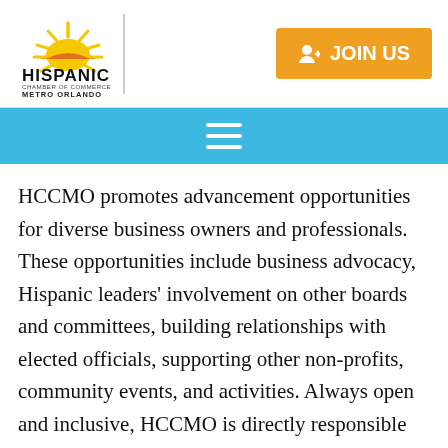[Figure (logo): Hispanic Chamber of Commerce Metro Orlando logo with sunburst graphic and text]
JOIN US
[Figure (other): Hamburger menu icon (three horizontal lines) on blue navigation bar]
HCCMO promotes advancement opportunities for diverse business owners and professionals. These opportunities include business advocacy, Hispanic leaders' involvement on other boards and committees, building relationships with elected officials, supporting other non-profits, community events, and activities. Always open and inclusive, HCCMO is directly responsible for the growth of many Central Florida businesses by leveraging the growth and economic impact of the Hispanic community.